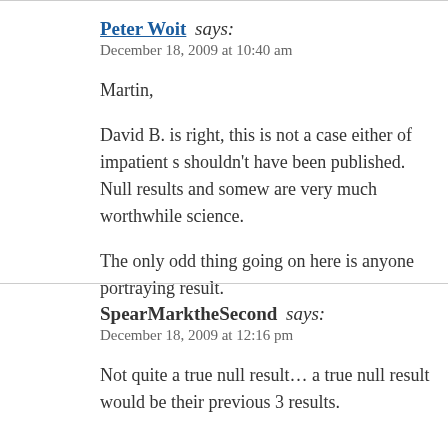Peter Woit says:
December 18, 2009 at 10:40 am
Martin,
David B. is right, this is not a case either of impatient s shouldn't have been published. Null results and somew are very much worthwhile science.
The only odd thing going on here is anyone portraying result.
SpearMarktheSecond says:
December 18, 2009 at 12:16 pm
Not quite a true null result… a true null result would be their previous 3 results.